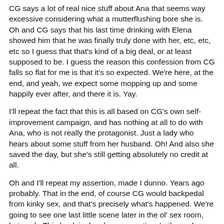CG says a lot of real nice stuff about Ana that seems way excessive considering what a mutterflushing bore she is. Oh and CG says that his last time drinking with Elena showed him that he was finally truly done with her, etc, etc, etc so I guess that that's kind of a big deal, or at least supposed to be. I guess the reason this confession from CG falls so flat for me is that it's so expected. We're here, at the end, and yeah, we expect some mopping up and some happily ever after, and there it is. Yay.
I'll repeat the fact that this is all based on CG's own self-improvement campaign, and has nothing at all to do with Ana, who is not really the protagonist. Just a lady who hears about some stuff from her husband. Oh! And also she saved the day, but she's still getting absolutely no credit at all.
Oh and I'll repeat my assertion, made I dunno. Years ago probably. That in the end, of course CG would backpedal from kinky sex, and that's precisely what's happened. We're going to see one last little scene later in the ol' sex room, but yeah. This book is deeply conservative. In the end, order is restored in the form of the bourgeois family. How liberating!
Anyway the next morning Ana dresses all sexy so her husband will do sex to her and then she eats a balanced,